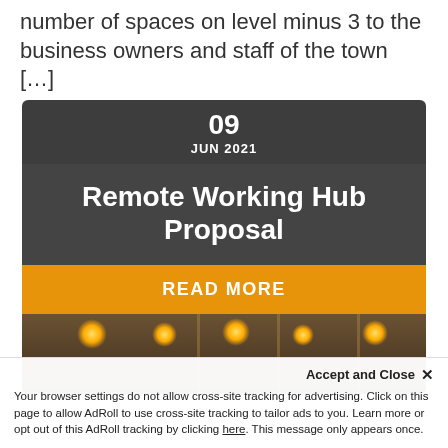number of spaces on level minus 3 to the business owners and staff of the town […]
09
JUN 2021
Remote Working Hub Proposal
READ MORE
[Figure (photo): Interior of a co-working/hub space with warm pendant lights and glass partitions]
Accept and Close ×
Your browser settings do not allow cross-site tracking for advertising. Click on this page to allow AdRoll to use cross-site tracking to tailor ads to you. Learn more or opt out of this AdRoll tracking by clicking here. This message only appears once.